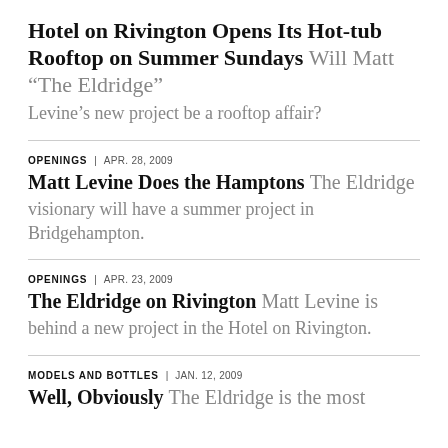Hotel on Rivington Opens Its Hot-tub Rooftop on Summer Sundays Will Matt “The Eldridge” Levine’s new project be a rooftop affair?
OPENINGS | APR. 28, 2009
Matt Levine Does the Hamptons The Eldridge visionary will have a summer project in Bridgehampton.
OPENINGS | APR. 23, 2009
The Eldridge on Rivington Matt Levine is behind a new project in the Hotel on Rivington.
MODELS AND BOTTLES | JAN. 12, 2009
Well, Obviously The Eldridge is the most